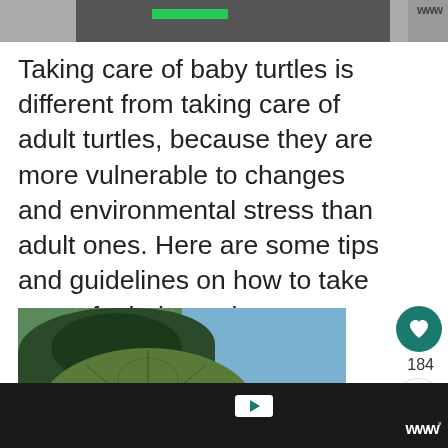[Figure (screenshot): Top image strip with dark background and green bar, partial screenshot of a video or website header]
Taking care of baby turtles is different from taking care of adult turtles, because they are more vulnerable to changes and environmental stress than adult ones. Here are some tips and guidelines on how to take care of a baby turtle as a p
[Figure (photo): Close-up photo of a baby turtle being held, showing the green shell detail with trees and sky in the background. A 'What's Next' overlay panel shows 'Turtle Species | 79 Different...']
[Figure (screenshot): Bottom dark bar with ad play button and WWW logo]